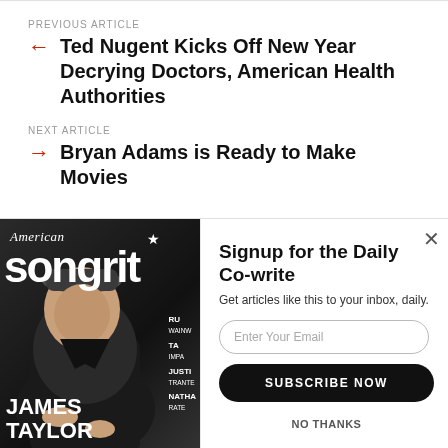PREVIOUS ARTICLE
Ted Nugent Kicks Off New Year Decrying Doctors, American Health Authorities
NEXT ARTICLE
Bryan Adams is Ready to Make Movies
[Figure (photo): American Songwriter magazine cover featuring James Taylor]
Signup for the Daily Co-write
Get articles like this to your inbox, daily.
Enter Your Email
SUBSCRIBE NOW
NO THANKS